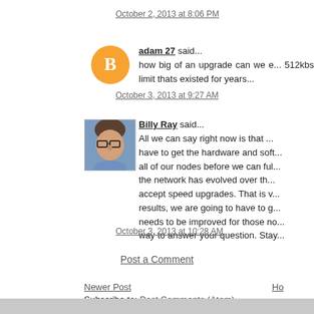October 2, 2013 at 8:06 PM
adam 27 said...
how big of an upgrade can we e... 512kbs limit thats existed for years...
October 3, 2013 at 9:27 AM
Billy Ray said...
All we can say right now is that ... have to get the hardware and soft... all of our nodes before we can ful... the network has evolved over th... accept speed upgrades. That is v... results, we are going to have to g... needs to be improved for those no... way to answer your question. Stay...
October 3, 2013 at 10:28 AM
Post a Comment
Newer Post
Ho...
Subscribe to: Post Comments (Atom)